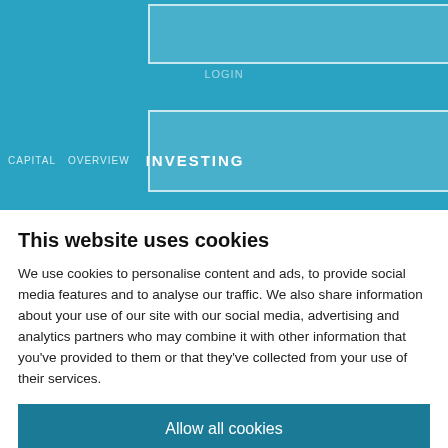[Figure (screenshot): Partial screenshot of a financial website with teal/blue background, showing navigation boxes and 'INVESTING' text in header area]
This website uses cookies
We use cookies to personalise content and ads, to provide social media features and to analyse our traffic. We also share information about your use of our site with our social media, advertising and analytics partners who may combine it with other information that you've provided to them or that they've collected from your use of their services.
Allow all cookies
Allow selection
Necessary   Preferences   Statistics   Marketing   Show details